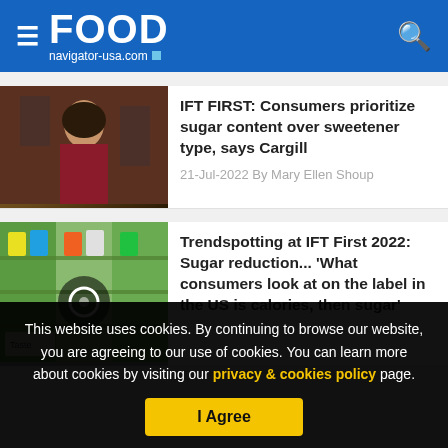FOOD navigator-usa.com
IFT FIRST: Consumers prioritize sugar content over sweetener type, says Cargill
21-Jul-2022 By Mary Ellen Shoup
Trendspotting at IFT First 2022: Sugar reduction... 'What consumers look at on the label in the US is calories, then sugar'
This website uses cookies. By continuing to browse our website, you are agreeing to our use of cookies. You can learn more about cookies by visiting our privacy & cookies policy page.